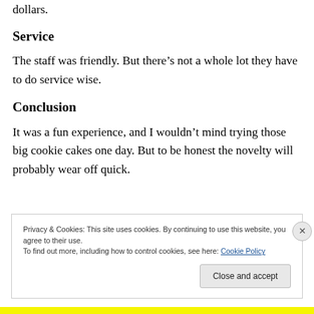dollars.
Service
The staff was friendly. But there's not a whole lot they have to do service wise.
Conclusion
It was a fun experience, and I wouldn't mind trying those big cookie cakes one day. But to be honest the novelty will probably wear off quick.
Privacy & Cookies: This site uses cookies. By continuing to use this website, you agree to their use.
To find out more, including how to control cookies, see here: Cookie Policy
Close and accept